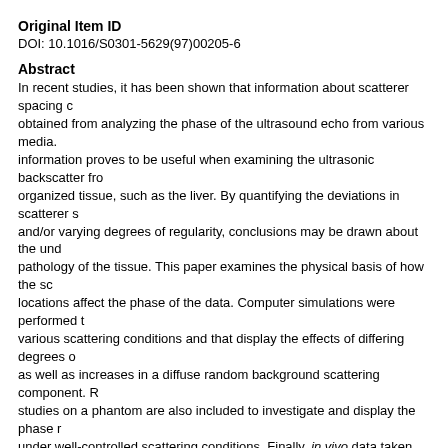Original Item ID
DOI: 10.1016/S0301-5629(97)00205-6
Abstract
In recent studies, it has been shown that information about scatterer spacing can be obtained from analyzing the phase of the ultrasound echo from various media. This information proves to be useful when examining the ultrasonic backscatter from organized tissue, such as the liver. By quantifying the deviations in scatterer spacing and/or varying degrees of regularity, conclusions may be drawn about the underlying pathology of the tissue. This paper examines the physical basis of how the scatterer locations affect the phase of the data. Computer simulations were performed to model various scattering conditions and that display the effects of differing degrees of regularity, as well as increases in a diffuse random background scattering component. Real studies on a phantom are also included to investigate and display the phase response under well-controlled scattering conditions. Finally, in vivo data taken from livers were analyzed. In this work, it was shown that the phase of the backscattered signal holds valuable information regarding the pathological state of liver tissue. It is hoped that this simple examination of the phase can be refined into a technique to be used as a method to consistently detect the onset of pathological change.
Comments
Ultrasound in Medicine & Biology, Vol. 24, No. 1 (January 1998): 79-91. DOI.
Dr. Robert Molthen was affiliated with Drexel University at time of publication.
Recommended Citation
Molthen, Robert C.; Narayanan, V. Manjo; Shankar, P. M.; Reid, J. M.; Genis, V.; Fors...